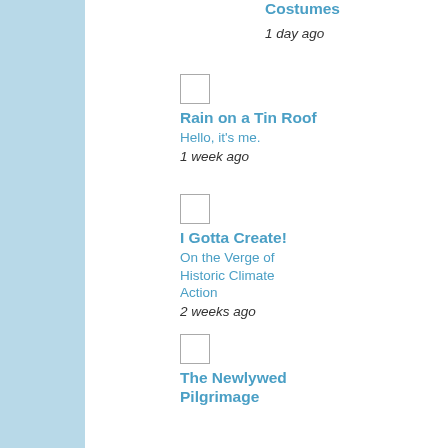Costumes
1 day ago
Rain on a Tin Roof
Hello, it's me.
1 week ago
I Gotta Create!
On the Verge of Historic Climate Action
2 weeks ago
The Newlywed Pilgrimage
15 DIY Tonneau Cover Ideas
2 months ago
Bowdabra Blog
How to Make the Perfect Holiday Snowman Ornament Under $5